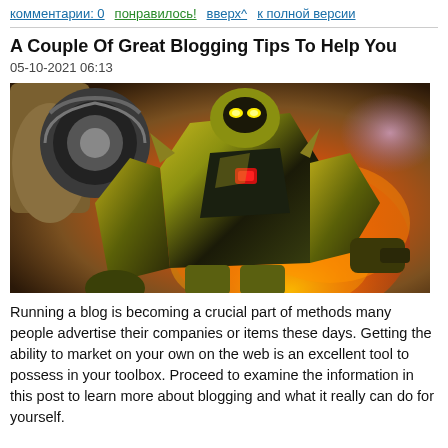комментарии: 0   понравилось!   вверх^   к полной версии
A Couple Of Great Blogging Tips To Help You
05-10-2021 06:13
[Figure (photo): Illustration of a large yellow and black robotic transformer figure (Bumblebee-style) in an action pose with fire and explosion in the background]
Running a blog is becoming a crucial part of methods many people advertise their companies or items these days. Getting the ability to market on your own on the web is an excellent tool to possess in your toolbox. Proceed to examine the information in this post to learn more about blogging and what it really can do for yourself.